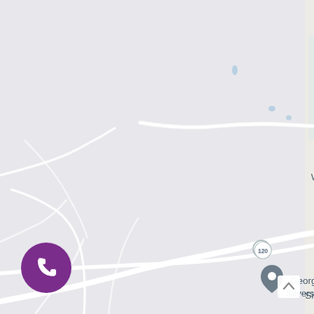[Figure (map): Google Maps screenshot showing a rural area with roads, White Oak Springs Baptist Church (with cross icon and map pin), E R Snell Contractors (with map pin), route 120 marker, Georgian Park | Silverstone Communities (with map pin), and a purple phone call button in the bottom left corner.]